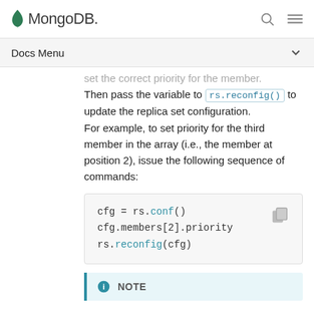MongoDB
Docs Menu
set the correct priority for the member. Then pass the variable to rs.reconfig() to update the replica set configuration.
For example, to set priority for the third member in the array (i.e., the member at position 2), issue the following sequence of commands:
[Figure (screenshot): Code block showing: cfg = rs.conf()
cfg.members[2].priority
rs.reconfig(cfg)]
NOTE